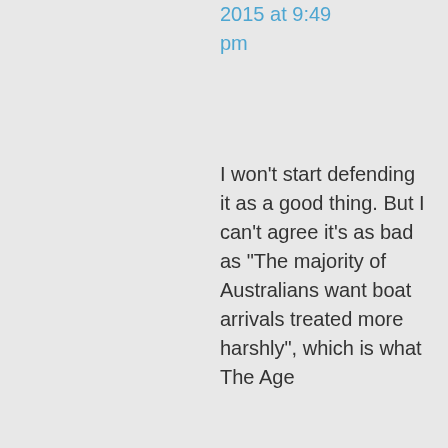2015 at 9:49 pm
I won't start defending it as a good thing. But I can't agree it's as bad as “The majority of Australians want boat arrivals treated more harshly”, which is what The Age